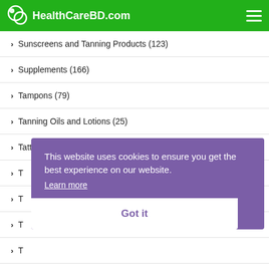HealthCareBD.com
Sunscreens and Tanning Products (123)
Supplements (166)
Tampons (79)
Tanning Oils and Lotions (25)
Tattoo Inks (10)
T...
T...
T...
T...
Teeth Whitening (50)
This website uses cookies to ensure you get the best experience on our website. Learn more Got it